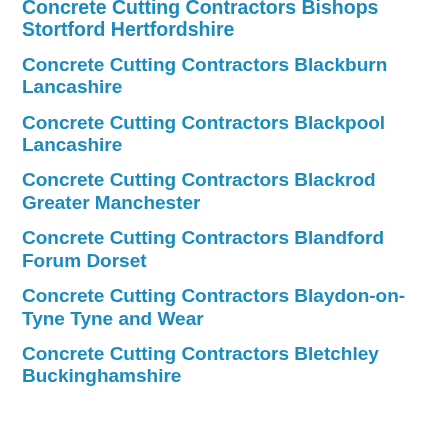Concrete Cutting Contractors Bishops Stortford Hertfordshire
Concrete Cutting Contractors Blackburn Lancashire
Concrete Cutting Contractors Blackpool Lancashire
Concrete Cutting Contractors Blackrod Greater Manchester
Concrete Cutting Contractors Blandford Forum Dorset
Concrete Cutting Contractors Blaydon-on-Tyne Tyne and Wear
Concrete Cutting Contractors Bletchley Buckinghamshire